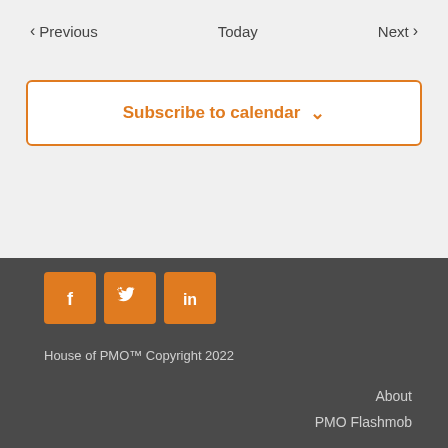< Previous   Today   Next >
Subscribe to calendar ˅
[Figure (infographic): Three orange square social media icons: Facebook (f), Twitter (bird), LinkedIn (in)]
House of PMO™ Copyright 2022
About
PMO Flashmob